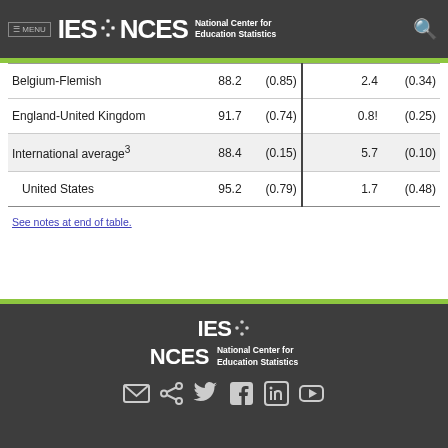IES NCES National Center for Education Statistics
| Belgium-Flemish | 88.2 | (0.85) | 2.4 | (0.34) |
| England-United Kingdom | 91.7 | (0.74) | 0.8! | (0.25) |
| International average³ | 88.4 | (0.15) | 5.7 | (0.10) |
| United States | 95.2 | (0.79) | 1.7 | (0.48) |
See notes at end of table.
IES NCES National Center for Education Statistics